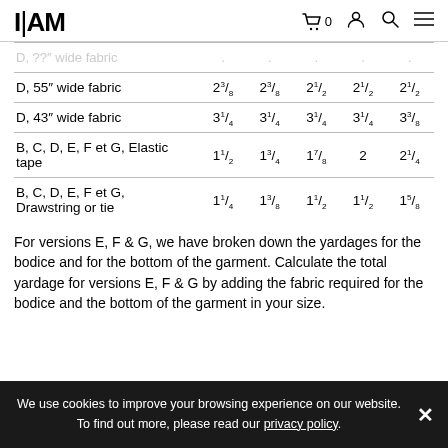IAM (logo) | cart icon 0 | account icon | search icon | menu icon
|  |  |  |  |  |  |
| --- | --- | --- | --- | --- | --- |
| D, 55" wide fabric | 2 3/8 | 2 3/8 | 2 1/2 | 2 1/2 | 2 1/2 |
| D, 43" wide fabric | 3 1/4 | 3 1/4 | 3 1/4 | 3 1/4 | 3 3/8 |
| B, C, D, E, F et G, Elastic tape | 1 1/2 | 1 3/4 | 1 7/8 | 2 | 2 1/4 |
| B, C, D, E, F et G, Drawstring or tie | 1 1/4 | 1 3/8 | 1 1/2 | 1 1/2 | 1 5/8 |
For versions E, F & G, we have broken down the yardages for the bodice and for the bottom of the garment. Calculate the total yardage for versions E, F & G by adding the fabric required for the bodice and the bottom of the garment in your size.
We use cookies to improve your browsing experience on our website. To find out more, please read our privacy policy. X